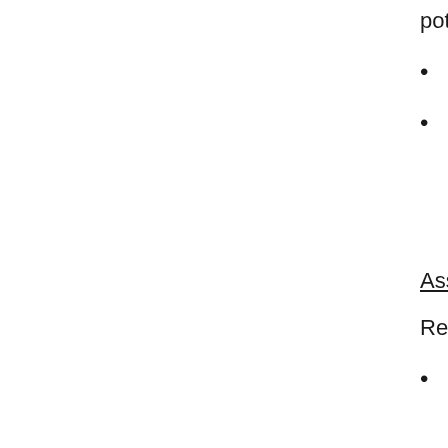potential stimulus check.
Parents/legal guardians are perm
There are no plans for a federal o … weeks despite official statements t
Connecticut's National Guard h … across the state. The National G
Assistance available for residents
Residents who are unemployed, cann
Residents who are recently out-o … for unemployment benefits with th
The State has provided answer … they relate to the COVID-19 pub
Residents can click here for m